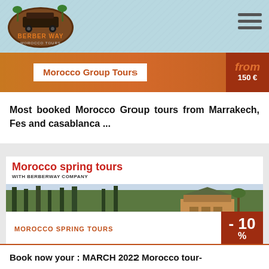[Figure (logo): Berber Way Morocco Tours logo with jeep and palm trees]
Morocco Group Tours
from 150 €
Most booked Morocco Group tours from Marrakech, Fes and casablanca ...
[Figure (photo): Morocco spring tours card with Menara Gardens pavilion photo. Title: Morocco spring tours WITH BERBERWAY COMPANY. Button: MOROCCO SPRING TOURS. Discount: - 10 %]
Book now your : MARCH 2022 Morocco tour-